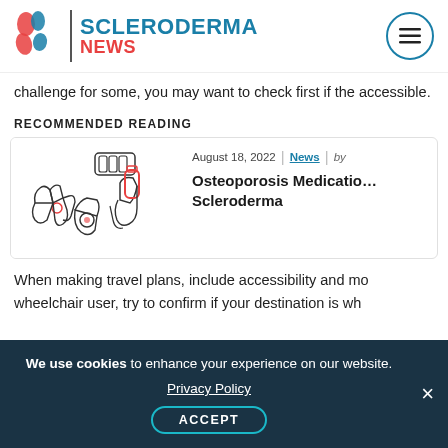Scleroderma News
challenge for some, you may want to check first if the accessible.
RECOMMENDED READING
[Figure (illustration): Line drawing of hands handling medication bottles and pills]
August 18, 2022 | News | by
Osteoporosis Medication Scleroderma
When making travel plans, include accessibility and mo wheelchair user, try to confirm if your destination is wh
We use cookies to enhance your experience on our website. Privacy Policy ACCEPT